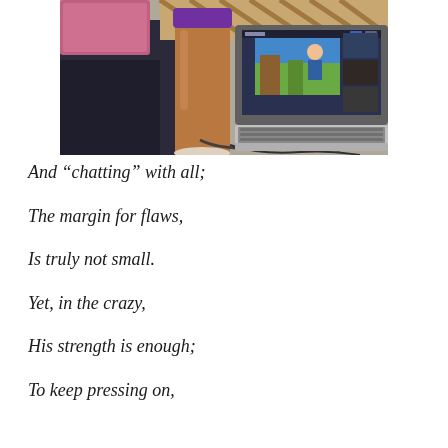[Figure (photo): A desk scene showing a tall coffee cup/tumbler with a purple lid in the foreground, a pink laptop on the left, and an open laptop on the right displaying a video conference call with a virtual background. Various cables and items are visible on the desk surface.]
And “chatting” with all;
The margin for flaws,
Is truly not small.
Yet, in the crazy,
His strength is enough;
To keep pressing on,